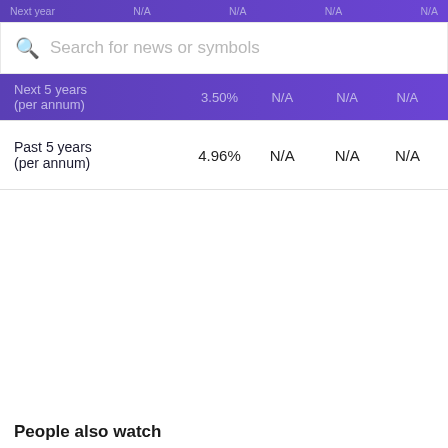Next year   N/A   N/A   N/A   N/A
[Figure (screenshot): Search bar with magnifying glass icon and placeholder text 'Search for news or symbols']
| Next 5 years (per annum) | 3.50% | N/A | N/A | N/A |
| Past 5 years (per annum) | 4.96% | N/A | N/A | N/A |
People also watch